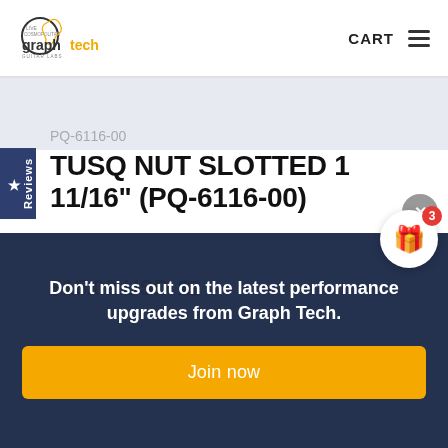graphtech GUITAR LABS — CART
PQ-6116-00
TUSQ NUT SLOTTED 1 11/16" (PQ-6116-00)
$15.02 USD
Reviews
Don't miss out on the latest performance upgrades from Graph Tech.
Join now